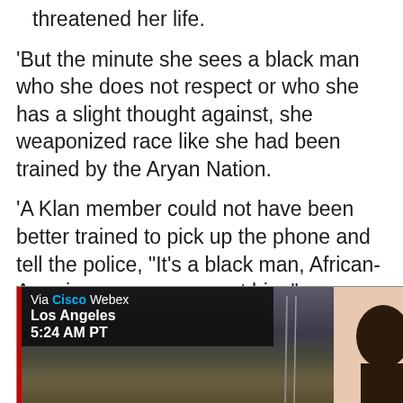threatened her life.
'But the minute she sees a black man who she does not respect or who she has a slight thought against, she weaponized race like she had been trained by the Aryan Nation.
'A Klan member could not have been better trained to pick up the phone and tell the police, "It's a black man, African-American man, come get him."
'So even the most liberal, well-intentioned white person has a virus in his or her brain that can be activated at an instant,' Jones, who is the co-founder of several social justice nonprofit organizations, said.
[Figure (screenshot): Video screenshot showing overlay text: Via Cisco Webex / Los Angeles / 5:24 AM PT, with bookshelf background on left and person's head on right]